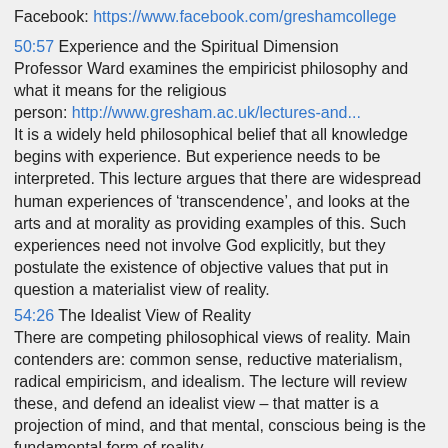Facebook: https://www.facebook.com/greshamcollege
50:57 Experience and the Spiritual Dimension
Professor Ward examines the empiricist philosophy and what it means for the religious person: http://www.gresham.ac.uk/lectures-and...
It is a widely held philosophical belief that all knowledge begins with experience. But experience needs to be interpreted. This lecture argues that there are widespread human experiences of ‘transcendence’, and looks at the arts and at morality as providing examples of this. Such experiences need not involve God explicitly, but they postulate the existence of objective values that put in question a materialist view of reality.
54:26 The Idealist View of Reality
There are competing philosophical views of reality. Main contenders are: common sense, reductive materialism, radical empiricism, and idealism. The lecture will review these, and defend an idealist view – that matter is a projection of mind, and that mental, conscious being is the fundamental form of reality.
50:41 Religion and Experience: Personal Knowledge